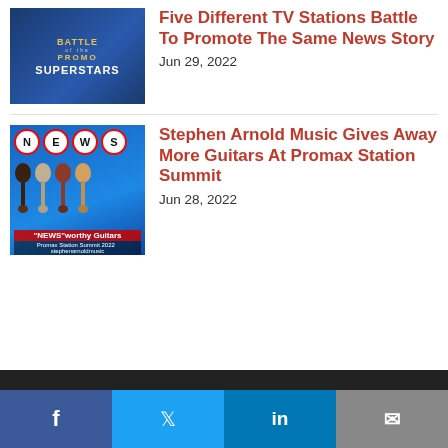[Figure (illustration): Battle of the Promo Superstars logo/thumbnail - blue background with yellow and white text]
Five Different TV Stations Battle To Promote The Same News Story
Jun 29, 2022
[Figure (photo): NEWS-worthy Guitars image showing guitars with N-E-W-S circles, Promax Station Summit 2022]
Stephen Arnold Music Gives Away More Guitars At Promax Station Summit
Jun 28, 2022
We use cookies to ensure that we give you the best experience on our website. If you continue to use this site we will assume that you are happy with it.
Facebook | Twitter | LinkedIn | Email